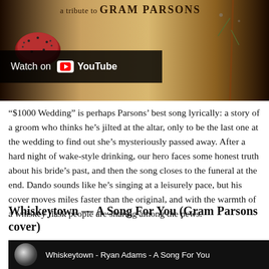[Figure (screenshot): YouTube video thumbnail showing 'a tribute to GRAM PARSONS' album art with a red cushion/pincushion and plant, with a 'Watch on YouTube' overlay bar at bottom left]
“$1000 Wedding” is perhaps Parsons’ best song lyrically: a story of a groom who thinks he’s jilted at the altar, only to be the last one at the wedding to find out she’s mysteriously passed away. After a hard night of wake-style drinking, our hero faces some honest truth about his bride’s past, and then the song closes to the funeral at the end. Dando sounds like he’s singing at a leisurely pace, but his cover moves miles faster than the original, and with the warmth of a whiskey flask people are sharing among the pews.
Whiskeytown — A Song For You (Gram Parsons cover)
[Figure (screenshot): YouTube video embed showing 'Whiskeytown - Ryan Adams - A Song For You' with a jellyfish thumbnail circle on black background]